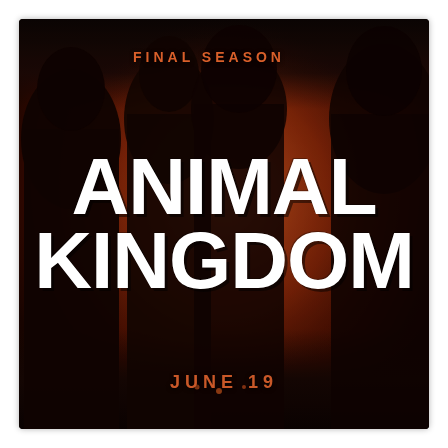[Figure (illustration): Animal Kingdom TV show promotional poster for the Final Season. Dark red/orange background with silhouettes of four people standing. Large bold white text reads ANIMAL KINGDOM in two lines. Orange text reads FINAL SEASON at the top and JUNE 19 at the bottom.]
FINAL SEASON
ANIMAL KINGDOM
JUNE 19